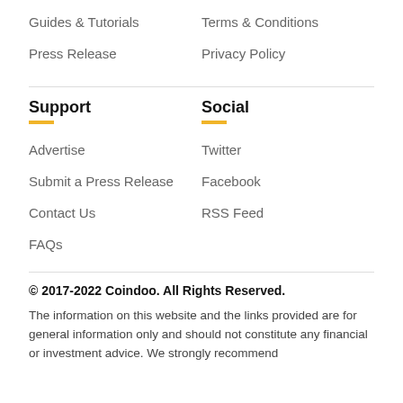Guides & Tutorials
Terms & Conditions
Press Release
Privacy Policy
Support
Social
Advertise
Twitter
Submit a Press Release
Facebook
Contact Us
RSS Feed
FAQs
© 2017-2022 Coindoo. All Rights Reserved.
The information on this website and the links provided are for general information only and should not constitute any financial or investment advice. We strongly recommend